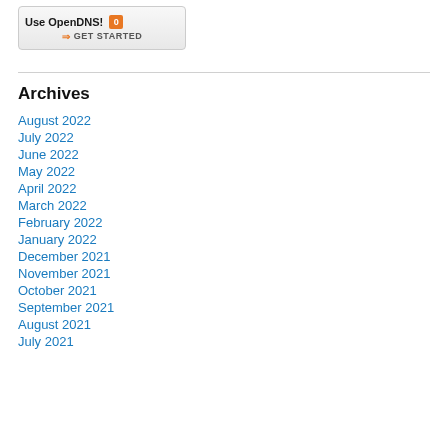[Figure (other): OpenDNS promotional banner with orange badge showing '0', text 'Use OpenDNS!' and arrow with 'GET STARTED' call to action]
Archives
August 2022
July 2022
June 2022
May 2022
April 2022
March 2022
February 2022
January 2022
December 2021
November 2021
October 2021
September 2021
August 2021
July 2021